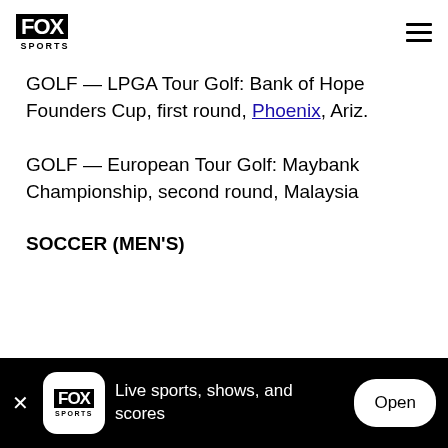FOX SPORTS
GOLF — LPGA Tour Golf: Bank of Hope Founders Cup, first round, Phoenix, Ariz.
GOLF — European Tour Golf: Maybank Championship, second round, Malaysia
SOCCER (MEN'S)
ESPN — UEFA Euro 2020: Belgium vs. Russia...
Live sports, shows, and scores